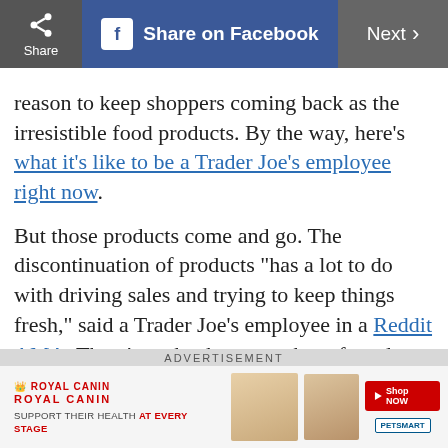Share | Share on Facebook | Next
reason to keep shoppers coming back as the irresistible food products. By the way, here’s what it's like to be a Trader Joe’s employee right now.
But those products come and go. The discontinuation of products “has a lot to do with driving sales and trying to keep things fresh,” said a Trader Joe’s employee in a Reddit AMA. There’s such a huge number of products that some might disappear without our knowledge. But there are others whose
ADVERTISEMENT
[Figure (photo): Royal Canin advertisement banner: Support Their Health At Every Stage, with cat food product images and Shop Now / PetSmart buttons]